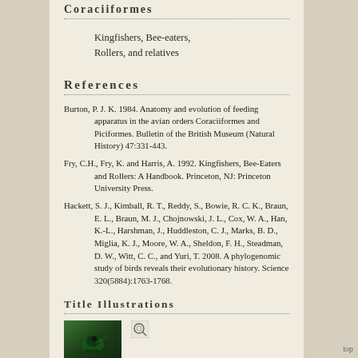Coraciiformes
Kingfishers, Bee-eaters, Rollers, and relatives
References
Burton, P. J. K. 1984. Anatomy and evolution of feeding apparatus in the avian orders Coraciiformes and Piciformes. Bulletin of the British Museum (Natural History) 47:331-443.
Fry, C.H., Fry, K. and Harris, A. 1992. Kingfishers, Bee-Eaters and Rollers: A Handbook. Princeton, NJ: Princeton University Press.
Hackett, S. J., Kimball, R. T., Reddy, S., Bowie, R. C. K., Braun, E. L., Braun, M. J., Chojnowski, J. L., Cox, W. A., Han, K.-L., Harshman, J., Huddleston, C. J., Marks, B. D., Miglia, K. J., Moore, W. A., Sheldon, F. H., Steadman, D. W., Witt, C. C., and Yuri, T. 2008. A phylogenomic study of birds reveals their evolutionary history. Science 320(5884):1763-1768.
Title Illustrations
[Figure (photo): Thumbnail photo of a bird (likely a kingfisher) with green foliage background]